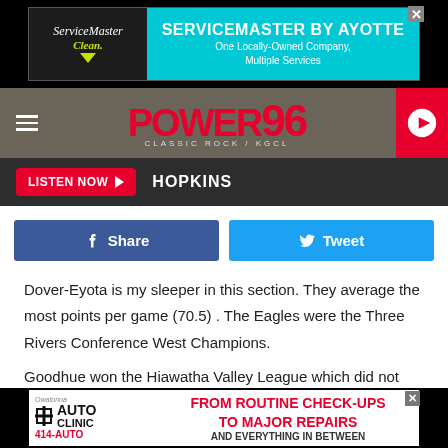[Figure (screenshot): ServiceMaster by Ayotte advertisement banner - One Locally-Owned Company, Multiple Services]
[Figure (logo): Power 96 Classic Rock KGCL radio station logo with navigation bar and play button]
LISTEN NOW  HOPKINS
[Figure (screenshot): Facebook Share and Twitter Tweet social sharing buttons]
Dover-Eyota is my sleeper in this section.  They average the most points per game (70.5) .  The Eagles were the Three Rivers Conference West Champions.
Goodhue won the Hiawatha Valley League which did not have divisions after Kenyon-Wanamingo and Triton moved to the Gopher Conference this season.  The Wildcats rank 3rd
[Figure (screenshot): Owatonna Auto Clinic advertisement - From Routine Check-Ups to Major Repairs and Everything in Between, 414-AUTO]